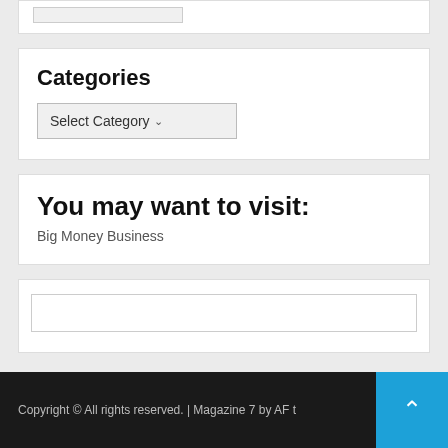[Figure (screenshot): Top white box with a small form element snippet visible at top]
Categories
[Figure (screenshot): Select Category dropdown input box]
You may want to visit:
Big Money Business
[Figure (screenshot): Empty search input box inside white panel]
Copyright © All rights reserved. | Magazine 7 by AF t